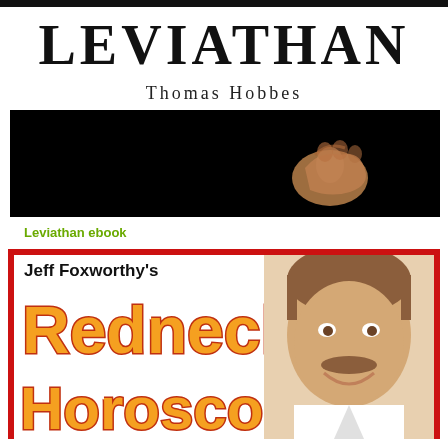LEVIATHAN
Thomas Hobbes
[Figure (photo): Dark book cover image of Leviathan showing a hand emerging from darkness against a black background]
Leviathan ebook
[Figure (photo): Book cover for Jeff Foxworthy's Redneck Horoscopes showing Jeff Foxworthy smiling on the right side and colorful orange text on a white background with red border]